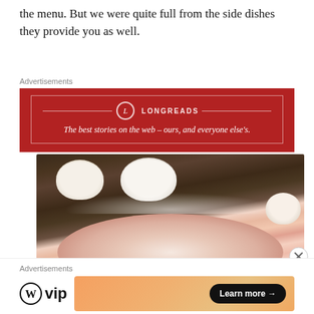the menu. But we were quite full from the side dishes they provide you as well.
Advertisements
[Figure (photo): Longreads advertisement banner in red with text: The best stories on the web – ours, and everyone else's.]
[Figure (photo): Photo of a hot pot with thinly sliced raw meat on a grill, two white ceramic bowls with side dishes visible at the top, and a small dipping sauce bowl on the right.]
Advertisements
[Figure (photo): WordPress VIP advertisement with logo and orange gradient banner with a 'Learn more →' black button.]